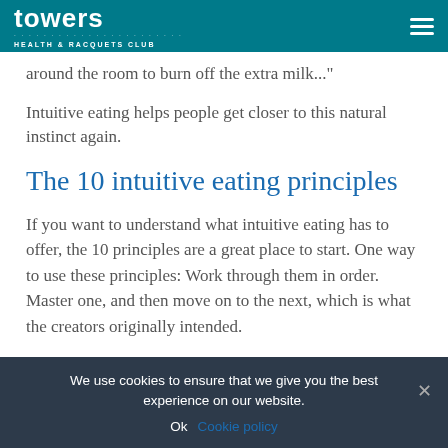towers HEALTH & RACQUETS CLUB
around the room to burn off the extra milk..."
Intuitive eating helps people get closer to this natural instinct again.
The 10 intuitive eating principles
If you want to understand what intuitive eating has to offer, the 10 principles are a great place to start. One way to use these principles: Work through them in order. Master one, and then move on to the next, which is what the creators originally intended.
We use cookies to ensure that we give you the best experience on our website. Ok Cookie policy